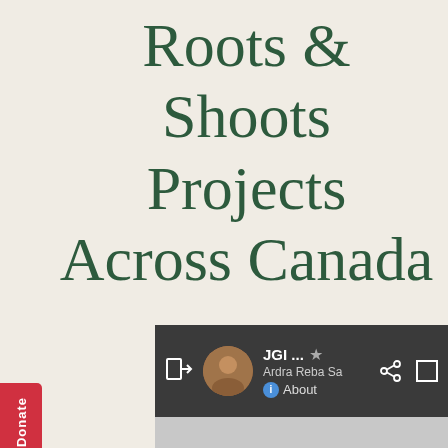Roots & Shoots Projects Across Canada
[Figure (screenshot): A screenshot of a mapping application showing a dark toolbar with a profile picture, 'JGI ...' label with a star icon, 'Ardra Reba Sa' subtitle, an 'About' info button, share icon, and expand icon. Below is a gray map area with colorful circular icons (paws, leaves) partially visible at the bottom. A red 'Donate' button with a heart icon is on the left side.]